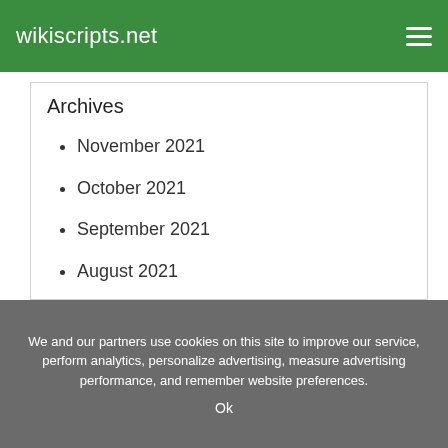wikiscripts.net
Archives
November 2021
October 2021
September 2021
August 2021
July 2021
June 2021
We and our partners use cookies on this site to improve our service, perform analytics, personalize advertising, measure advertising performance, and remember website preferences.
Ok